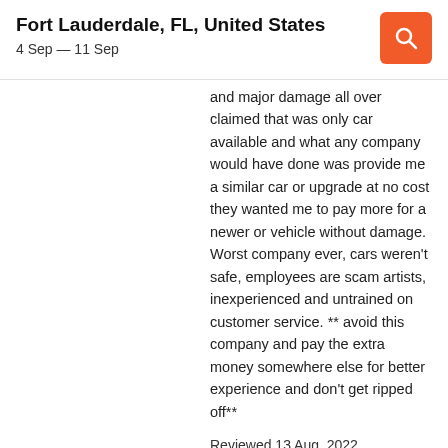Fort Lauderdale, FL, United States
4 Sep — 11 Sep
and major damage all over claimed that was only car available and what any company would have done was provide me a similar car or upgrade at no cost they wanted me to pay more for a newer or vehicle without damage. Worst company ever, cars weren't safe, employees are scam artists, inexperienced and untrained on customer service. ** avoid this company and pay the extra money somewhere else for better experience and don't get ripped off**
Reviewed 13 Aug. 2022
review from KAYAK
2.0 Took over a hour to pick up auto because tires weren't legal to drive on (less than 2/32 on them) (three before a legal one was delivered) also paid for a half a tank of gas returned it a little bit over half and now being charged for the